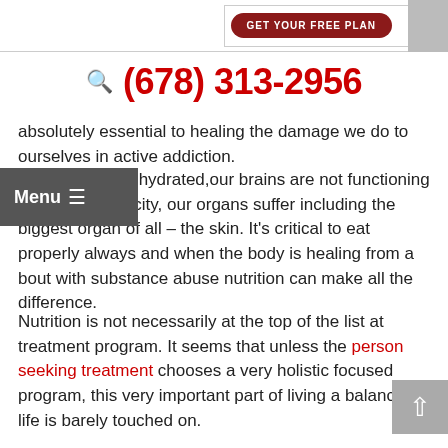Get Your Free Plan
(678) 313-2956
absolutely essential to healing the damage we do to ourselves in active addiction.
We are often dehydrated,our brains are not functioning at highest capacity, our organs suffer including the biggest organ of all – the skin. It's critical to eat properly always and when the body is healing from a bout with substance abuse nutrition can make all the difference.
Nutrition is not necessarily at the top of the list at treatment program. It seems that unless the person seeking treatment chooses a very holistic focused program, this very important part of living a balanced life is barely touched on.